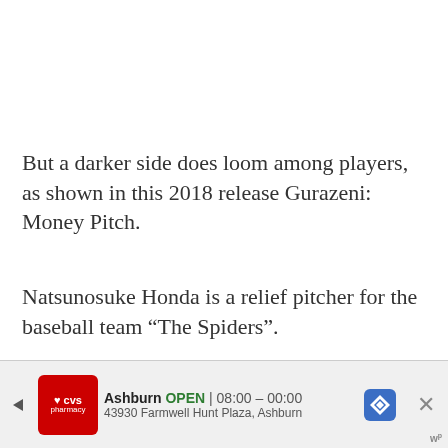But a darker side does loom among players, as shown in this 2018 release Gurazeni: Money Pitch.
Natsunosuke Honda is a relief pitcher for the baseball team “The Spiders”.
Knowing that a player’s salary depends on his performance, Natsunosuke slyly finds ways to manipulate and challenge his fellow teammates to secure the highest paycheck in the team.
It’s a cynical but still interesting view of the spo...
[Figure (other): Advertisement banner for CVS Pharmacy in Ashburn showing store hours 08:00-00:00 and address 43930 Farmwell Hunt Plaza, Ashburn, with a navigation arrow icon and close button]